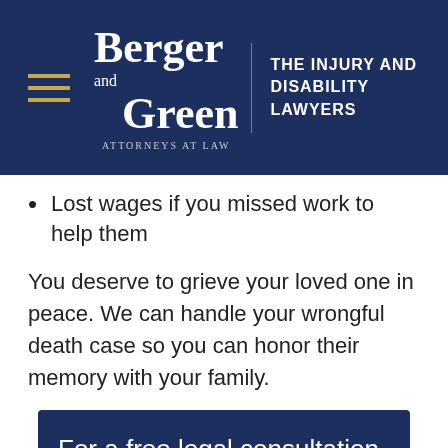[Figure (logo): Berger and Green Attorneys at Law logo with hamburger menu icon on dark navy background. Tagline reads THE INJURY AND DISABILITY LAWYERS]
Lost wages if you missed work to help them
You deserve to grieve your loved one in peace. We can handle your wrongful death case so you can honor their memory with your family.
For a free legal consultation personal injury lawyer serving Pittsburgh, call 412
Text Us!